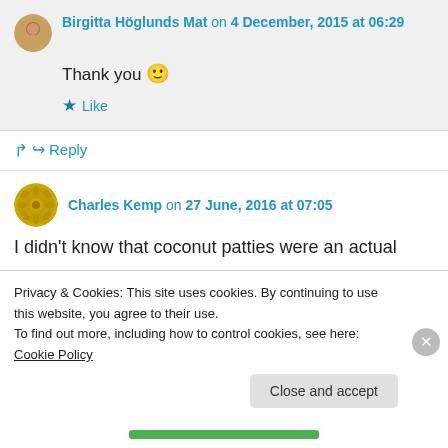Birgitta Höglunds Mat on 4 December, 2015 at 06:29
Thank you 🙂
★ Like
↳ Reply
Charles Kemp on 27 June, 2016 at 07:05
I didn't know that coconut patties were an actual
Privacy & Cookies: This site uses cookies. By continuing to use this website, you agree to their use. To find out more, including how to control cookies, see here: Cookie Policy
Close and accept